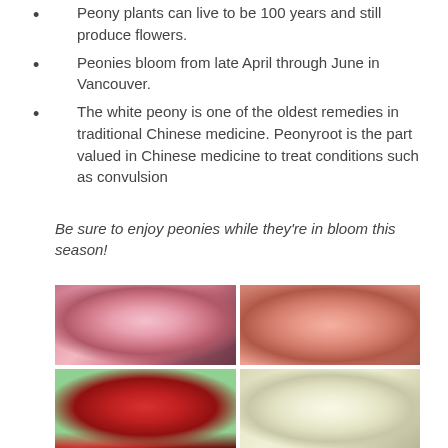Peony plants can live to be 100 years and still produce flowers.
Peonies bloom from late April through June in Vancouver.
The white peony is one of the oldest remedies in traditional Chinese medicine. Peonyroot is the part valued in Chinese medicine to treat conditions such as convulsion
Be sure to enjoy peonies while they're in bloom this season!
[Figure (photo): Four photos of peony flowers: top-left pink peony with layered petals and green leaves, top-right coral/pink peony with yellow center stamens, bottom-left red peony with yellow-tipped stamens, bottom-right white/cream peony with soft layered petals.]